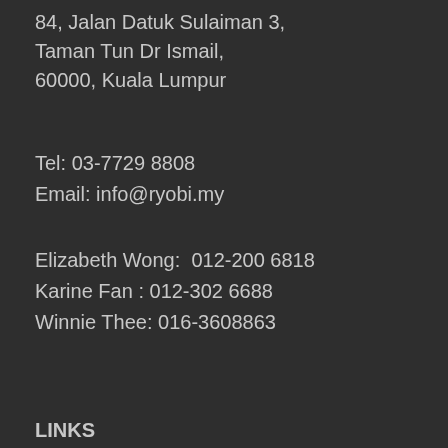84, Jalan Datuk Sulaiman 3,
Taman Tun Dr Ismail,
60000, Kuala Lumpur
Tel: 03-7729 8808
Email: info@ryobi.my
Elizabeth Wong:  012-200 6818
Karine Fan : 012-302 6688
Winnie Thee: 016-3608863
LINKS